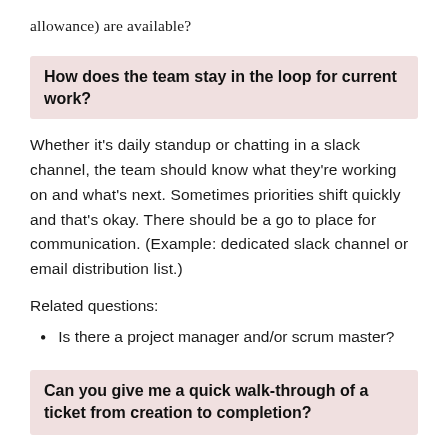allowance) are available?
How does the team stay in the loop for current work?
Whether it's daily standup or chatting in a slack channel, the team should know what they're working on and what's next. Sometimes priorities shift quickly and that's okay. There should be a go to place for communication. (Example: dedicated slack channel or email distribution list.)
Related questions:
Is there a project manager and/or scrum master?
Can you give me a quick walk-through of a ticket from creation to completion?
This is all about the process. Tickets should be